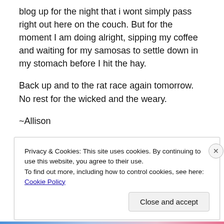blog up for the night that i wont simply pass right out here on the couch. But for the moment I am doing alright, sipping my coffee and waiting for my samosas to settle down in my stomach before I hit the hay.
Back up and to the rat race again tomorrow. No rest for the wicked and the weary.
~Allison
[Figure (other): Broken/missing image icon]
Privacy & Cookies: This site uses cookies. By continuing to use this website, you agree to their use.
To find out more, including how to control cookies, see here: Cookie Policy